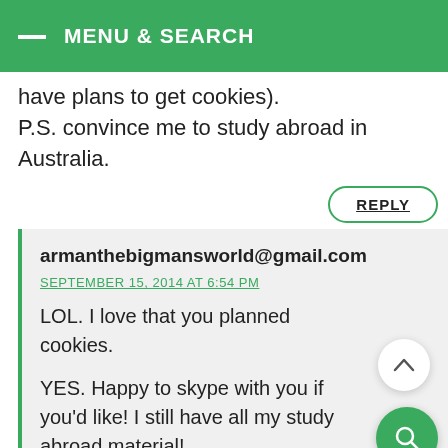MENU & SEARCH
have plans to get cookies).
P.S. convince me to study abroad in Australia.
REPLY
armanthebigmansworld@gmail.com
SEPTEMBER 15, 2014 AT 6:54 PM
LOL. I love that you planned cookies.

YES. Happy to skype with you if you'd like! I still have all my study abroad material!
REPLY
Alison @ Daily Moves and Grooves